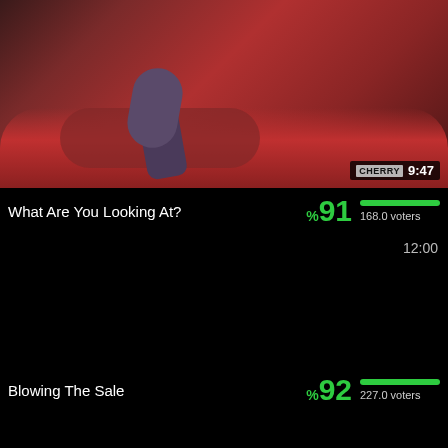[Figure (screenshot): Video thumbnail showing person on red couch/sofa, with channel tag CHERRY and duration 9:47]
What Are You Looking At?
%91  168.0 voters
12:00
Blowing The Sale
%92  227.0 voters